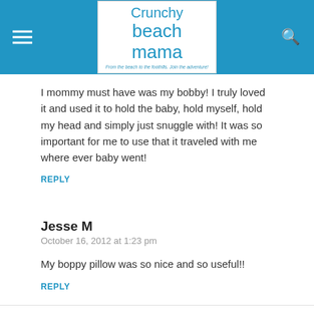Crunchy Beach Mama — From the beach to the foothills. Join the adventure!
I mommy must have was my bobby! I truly loved it and used it to hold the baby, hold myself, hold my head and simply just snuggle with! It was so important for me to use that it traveled with me where ever baby went!
REPLY
Jesse M
October 16, 2012 at 1:23 pm
My boppy pillow was so nice and so useful!!
REPLY